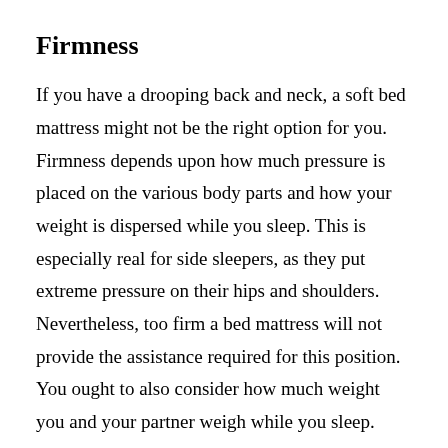Firmness
If you have a drooping back and neck, a soft bed mattress might not be the right option for you. Firmness depends upon how much pressure is placed on the various body parts and how your weight is dispersed while you sleep. This is especially real for side sleepers, as they put extreme pressure on their hips and shoulders. Nevertheless, too firm a bed mattress will not provide the assistance required for this position. You ought to also consider how much weight you and your partner weigh while you sleep.